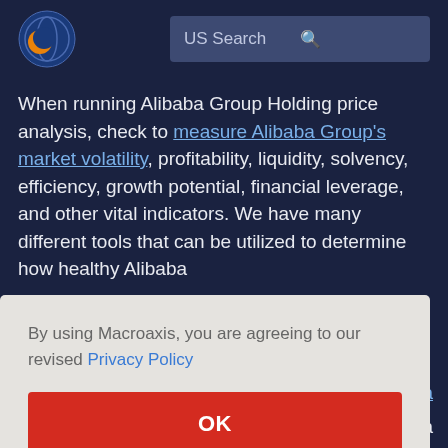[Figure (logo): Macroaxis globe logo with orange and blue colors]
[Figure (screenshot): US Search input bar with search icon]
When running Alibaba Group Holding price analysis, check to measure Alibaba Group's market volatility, profitability, liquidity, solvency, efficiency, growth potential, financial leverage, and other vital indicators. We have many different tools that can be utilized to determine how healthy Alibaba ...ba ...and ...ba ...e ...ble to ...ibaba Group to your portfolios can decrease your overall portfolio
By using Macroaxis, you are agreeing to our revised Privacy Policy
OK